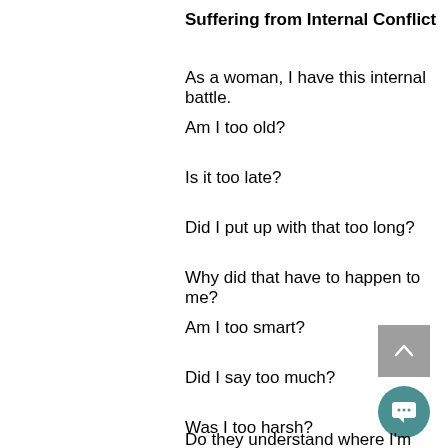Suffering from Internal Conflict
As a woman, I have this internal battle.
Am I too old?
Is it too late?
Did I put up with that too long?
Why did that have to happen to me?
Am I too smart?
Did I say too much?
Was I too harsh?
Do they understand where I'm coming